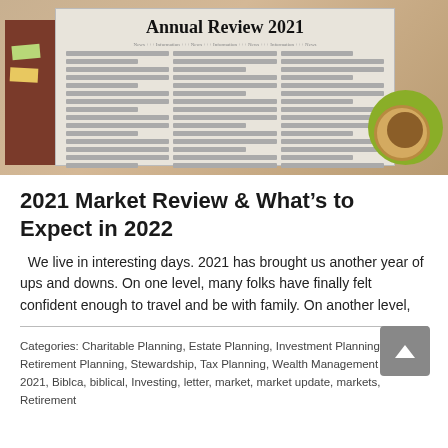[Figure (photo): Photo of a newspaper titled 'Annual Review 2021' on a wooden desk, with a dark brown book on the left with sticky notes (green and yellow), and a green saucer with a coffee cup on the right.]
2021 Market Review & What's to Expect in 2022
We live in interesting days. 2021 has brought us another year of ups and downs. On one level, many folks have finally felt confident enough to travel and be with family. On another level,
Categories: Charitable Planning, Estate Planning, Investment Planning, Retirement Planning, Stewardship, Tax Planning, Wealth Management | Tags: 2021, Biblca, biblical, Investing, letter, market, market update, markets, Retirement